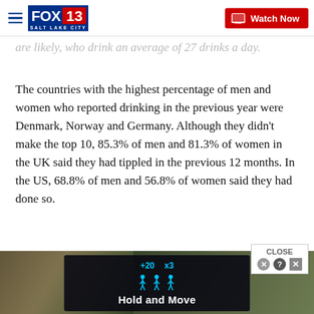FOX 13 SALT LAKE CITY — Watch Now
are likely, who drink an average of 27 drinks a day.
The countries with the highest percentage of men and women who reported drinking in the previous year were Denmark, Norway and Germany. Although they didn't make the top 10, 85.3% of men and 81.3% of women in the UK said they had tippled in the previous 12 months. In the US, 68.8% of men and 56.8% of women said they had done so.
Countries with the largest percentage of drinking
[Figure (screenshot): Advertisement overlay showing a dark panel with blue counters '+20' and 'x3', walking figure icons in blue, and text 'Hold and Move', overlaid on a background photo of winter trees.]